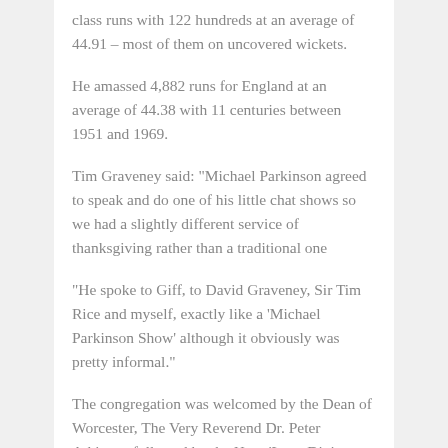class runs with 122 hundreds at an average of 44.91 – most of them on uncovered wickets.
He amassed 4,882 runs for England at an average of 44.38 with 11 centuries between 1951 and 1969.
Tim Graveney said: "Michael Parkinson agreed to speak and do one of his little chat shows so we had a slightly different service of thanksgiving rather than a traditional one
"He spoke to Giff, to David Graveney, Sir Tim Rice and myself, exactly like a 'Michael Parkinson Show' although it obviously was pretty informal."
The congregation was welcomed by the Dean of Worcester, The Very Reverend Dr. Peter Atkinson followed by the Hym 'Love Divine, All Loves Excelling.'